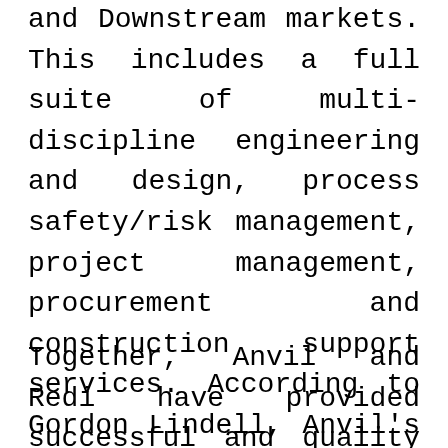and Downstream markets. This includes a full suite of multi-discipline engineering and design, process safety/risk management, project management, procurement and construction support services. According to Gordon Lindell, Anvil's President, “The acquisition of Redi Engineering combines two companies with reputations for delivering on time cost effective solutions to oil & gas clients and we look forward to expanding those services in the Denver region."
Together, Anvil and Redi have provided successful and quality engineering and project management services to the oil and gas industry